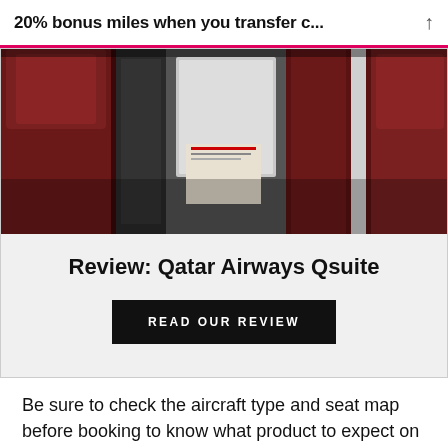20% bonus miles when you transfer c...
[Figure (photo): Interior of Qatar Airways Qsuite business class cabin showing dark red/maroon leather seats with a central divider and entertainment screen visible between seats.]
Review: Qatar Airways Qsuite
READ OUR REVIEW
Be sure to check the aircraft type and seat map before booking to know what product to expect on each stage of your journey.